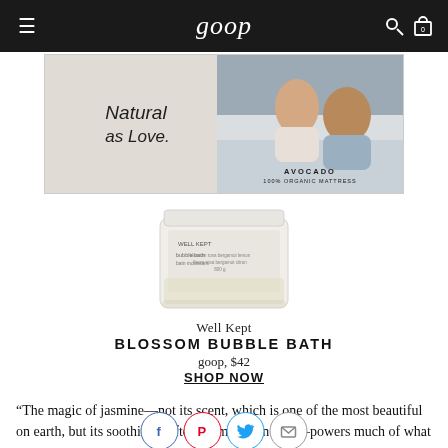goop
[Figure (photo): Avocado mattress advertisement banner with cursive text 'Natural as Love.' on left and couple on bed on right, with AVOCADO branding]
[Figure (photo): Well Kept Blossom Bubble Bath product jar with light pink/lavender label]
Well Kept
BLOSSOM BUBBLE BATH
goop, $42
SHOP NOW
“The magic of jasmine—not its scent, which is one of the most beautiful on earth, but its soothing, softening magic on skin—powers much of what they